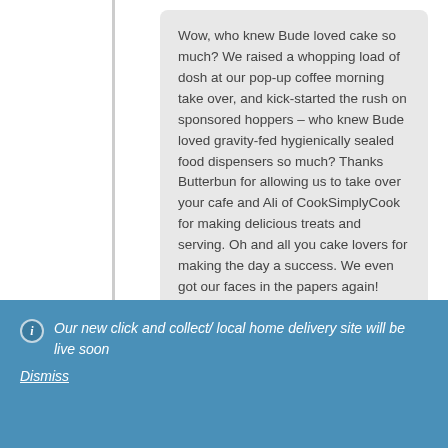Wow, who knew Bude loved cake so much? We raised a whopping load of dosh at our pop-up coffee morning take over, and kick-started the rush on sponsored hoppers – who knew Bude loved gravity-fed hygienically sealed food dispensers so much? Thanks Butterbun for allowing us to take over your cafe and Ali of CookSimplyCook for making delicious treats and serving. Oh and all you cake lovers for making the day a success. We even got our faces in the papers again!
January 5
Our new click and collect/ local home delivery site will be live soon
Dismiss